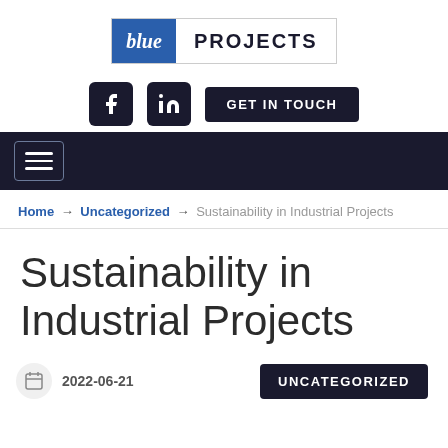[Figure (logo): Blue Projects logo: blue box with italic 'blue' in white, next to 'PROJECTS' in bold dark letters, all inside a light border]
[Figure (infographic): Navigation row with Facebook icon, LinkedIn icon, and 'GET IN TOUCH' dark button]
[Figure (infographic): Dark navy navigation bar with hamburger menu icon]
Home → Uncategorized → Sustainability in Industrial Projects
Sustainability in Industrial Projects
2022-06-21
UNCATEGORIZED